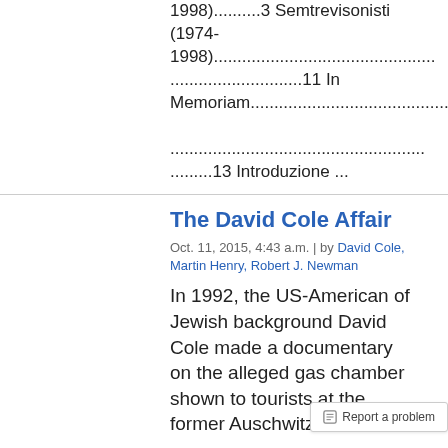1998)..........3 Semtrevisonisti (1974-1998)................................................................11 In Memoriam....................................................................13 Introduzione ...
The David Cole Affair
Oct. 11, 2015, 4:43 a.m. | by David Cole, Martin Henry, Robert J. Newman
In 1992, the US-American of Jewish background David Cole made a documentary on the alleged gas chamber shown to tourists at the former Auschwitz concentrat...